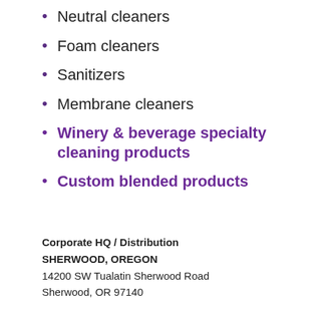Neutral cleaners
Foam cleaners
Sanitizers
Membrane cleaners
Winery & beverage specialty cleaning products
Custom blended products
Corporate HQ / Distribution
SHERWOOD, OREGON
14200 SW Tualatin Sherwood Road
Sherwood, OR 97140